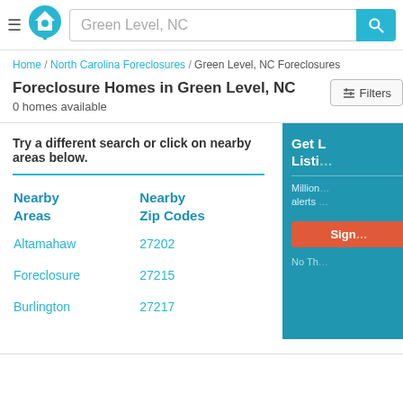Green Level, NC [search box with icon]
Home / North Carolina Foreclosures / Green Level, NC Foreclosures
Foreclosure Homes in Green Level, NC
0 homes available
Try a different search or click on nearby areas below.
| Nearby Areas | Nearby Zip Codes |
| --- | --- |
| Altamahaw | 27202 |
| Foreclosure | 27215 |
| Burlington | 27217 |
Get Listing Alerts — Millions… alerts… Sign… No Th…